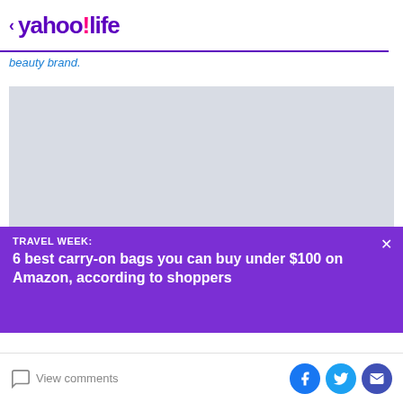< yahoo!life
beauty brand.
[Figure (photo): Light gray rectangular image placeholder]
TRAVEL WEEK:
6 best carry-on bags you can buy under $100 on Amazon, according to shoppers
View comments